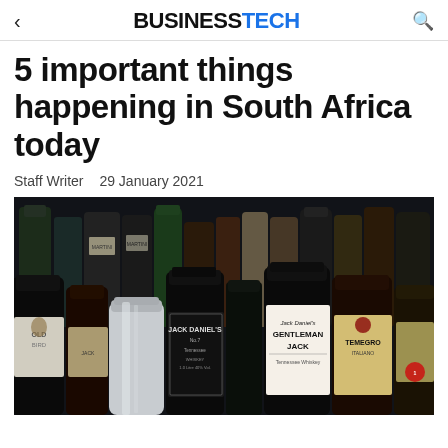< BUSINESSTECH Q
5 important things happening in South Africa today
Staff Writer   29 January 2021
[Figure (photo): Multiple liquor bottles on a bar shelf including Jack Daniel's Tennessee Whiskey, Gentleman Jack, and other spirits. Dark moody background with various bottle shapes and labels visible.]